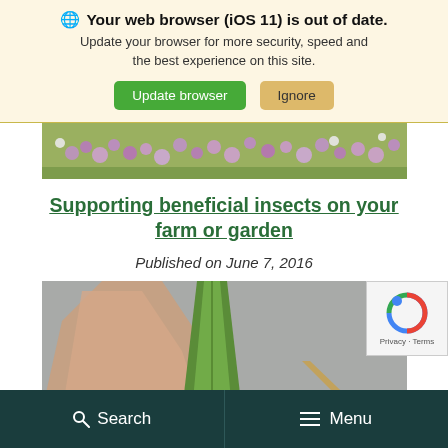Your web browser (iOS 11) is out of date. Update your browser for more security, speed and the best experience on this site. [Update browser] [Ignore]
[Figure (photo): Strip of purple/pink flowering plants (asters or similar) with some white flowers, forming a garden or field scene]
Supporting beneficial insects on your farm or garden
Published on June 7, 2016
[Figure (photo): A hand holding a green plant leaf or shoot against a grey/concrete background, with some dried plant material visible]
Search   Menu